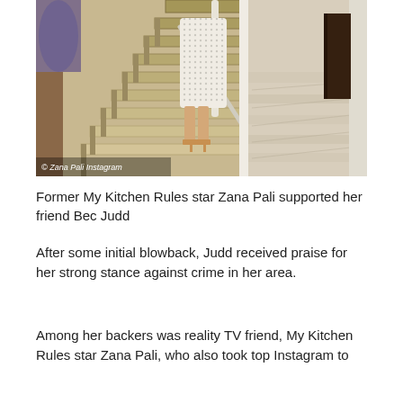[Figure (photo): A woman in a patterned dress and heels descending a staircase in an elegant home interior with light wood flooring and a hallway visible to the right. Watermark reads '© Zana Pali Instagram'.]
Former My Kitchen Rules star Zana Pali supported her friend Bec Judd
After some initial blowback, Judd received praise for her strong stance against crime in her area.
Among her backers was reality TV friend, My Kitchen Rules star Zana Pali, who also took top Instagram to